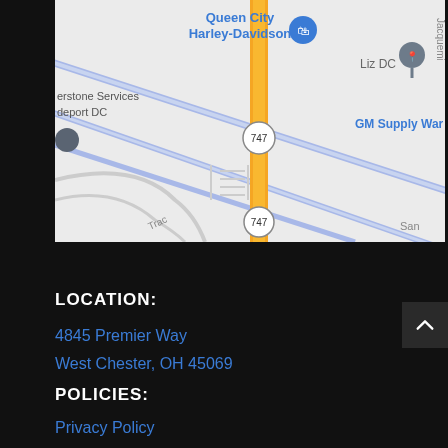[Figure (map): Google Maps screenshot showing area around Queen City Harley-Davidson on route 747 in West Chester/Cincinnati Ohio area. Shows road 747 (orange/yellow), blue diagonal roads, landmarks including Queen City Harley-Davidson, Liz DC, GM Supply Warehouse, erstone Services depot DC. Roads labeled Trac and San visible at edges.]
LOCATION:
4845 Premier Way
West Chester, OH 45069
POLICIES:
Privacy Policy